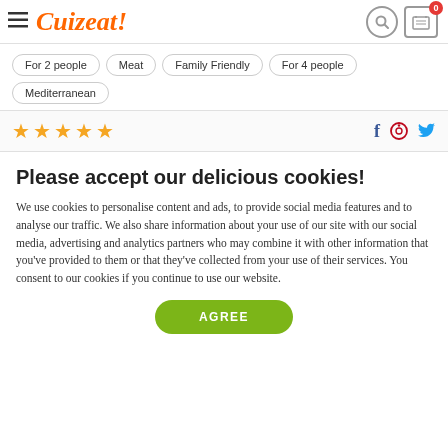Cuizeat!
For 2 people
Meat
Family Friendly
For 4 people
Mediterranean
[Figure (other): 5 star rating and social media icons (Facebook, Pinterest, Twitter)]
Please accept our delicious cookies!
We use cookies to personalise content and ads, to provide social media features and to analyse our traffic. We also share information about your use of our site with our social media, advertising and analytics partners who may combine it with other information that you've provided to them or that they've collected from your use of their services. You consent to our cookies if you continue to use our website.
AGREE